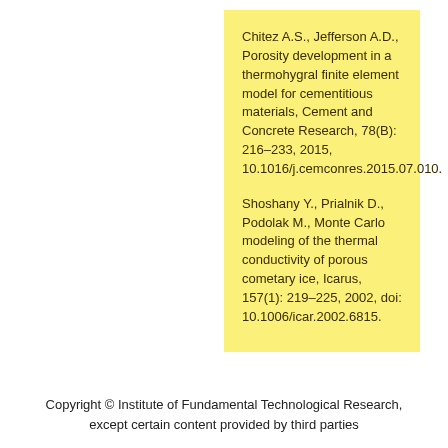Chitez A.S., Jefferson A.D., Porosity development in a thermo-hygral finite element model for cementitious materials, Cement and Concrete Research, 78(B): 216–233, 2015, 10.1016/j.cemconres.2015.07.010.
Shoshany Y., Prialnik D., Podolak M., Monte Carlo modeling of the thermal conductivity of porous cometary ice, Icarus, 157(1): 219–225, 2002, doi: 10.1006/icar.2002.6815.
Copyright © Institute of Fundamental Technological Research, except certain content provided by third parties